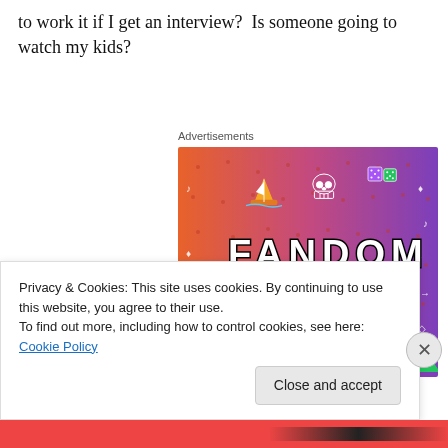to work it if I get an interview?  Is someone going to watch my kids?
Advertisements
[Figure (illustration): Fandom on Tumblr advertisement banner with colorful gradient background (orange to purple), featuring the text 'FANDOM ON tumblr' with white illustrated icons including a sailboat, skull, dice, music notes, hearts, and other doodles.]
Privacy & Cookies: This site uses cookies. By continuing to use this website, you agree to their use.
To find out more, including how to control cookies, see here: Cookie Policy